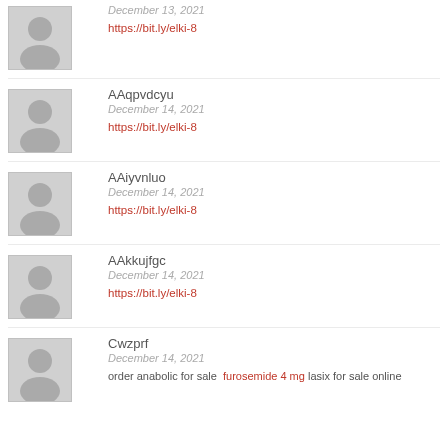December 13, 2021
https://bit.ly/elki-8
AAqpvdcyu
December 14, 2021
https://bit.ly/elki-8
AAiyvnluo
December 14, 2021
https://bit.ly/elki-8
AAkkujfgc
December 14, 2021
https://bit.ly/elki-8
Cwzprf
December 14, 2021
order anabolic for sale furosemide 4 mg lasix for sale online